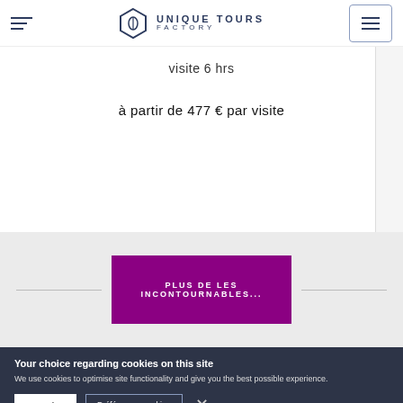Unique Tours Factory
visite 6 hrs
à partir de 477 € par visite
PLUS DE LES INCONTOURNABLES...
Your choice regarding cookies on this site
We use cookies to optimise site functionality and give you the best possible experience.
accepter
Préférences cookies